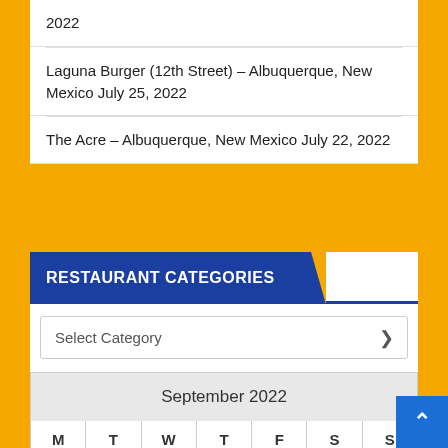2022
Laguna Burger (12th Street) – Albuquerque, New Mexico July 25, 2022
The Acre – Albuquerque, New Mexico July 22, 2022
RESTAURANT CATEGORIES
Select Category
| M | T | W | T | F | S | S |
| --- | --- | --- | --- | --- | --- | --- |